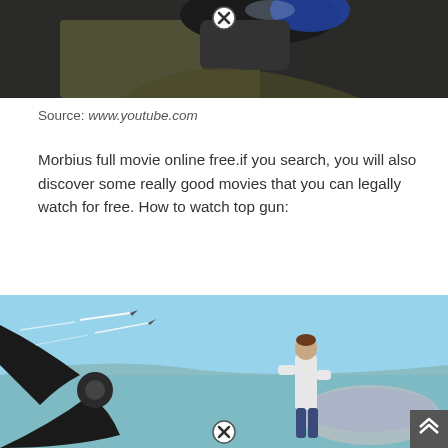[Figure (photo): A person in a flight suit and helmet in a cockpit, with a circled X overlay icon at top center]
Source: www.youtube.com
Morbius full movie online free.if you search, you will also discover some really good movies that you can legally watch for free. How to watch top gun:
[Figure (photo): A man in a white t-shirt standing on a vintage propeller aircraft watching jet planes fly overhead with contrails against a blue sky, with a circled X overlay icon at bottom center and a dark scroll-up arrow button at bottom right]